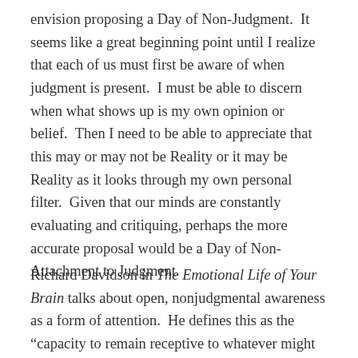envision proposing a Day of Non-Judgment.  It seems like a great beginning point until I realize that each of us must first be aware of when judgment is present.  I must be able to discern when what shows up is my own opinion or belief.  Then I need to be able to appreciate that this may or may not be Reality or it may be Reality as it looks through my own personal filter.  Given that our minds are constantly evaluating and critiquing, perhaps the more accurate proposal would be a Day of Non-Attachment to Judgment.
Richard Davidson in The Emotional Life of Your Brain talks about open, nonjudgmental awareness as a form of attention.  He defines this as the “capacity to remain receptive to whatever might pass into your thoughts, view…